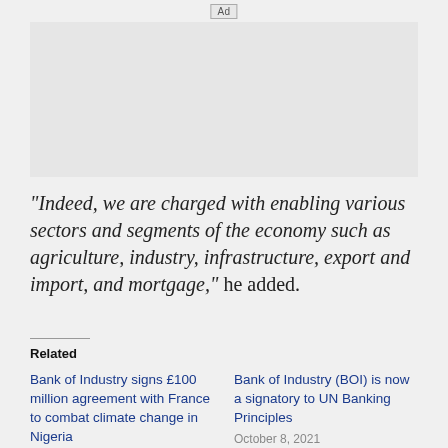[Figure (other): Ad placeholder box at top of page]
“Indeed, we are charged with enabling various sectors and segments of the economy such as agriculture, industry, infrastructure, export and import, and mortgage,” he added.
Related
Bank of Industry signs £100 million agreement with France to combat climate change in Nigeria
Bank of Industry (BOI) is now a signatory to UN Banking Principles
October 8, 2021